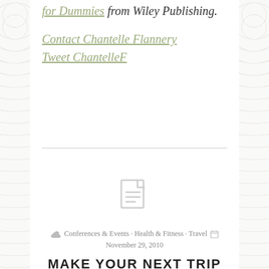for Dummies from Wiley Publishing.
Contact Chantelle Flannery
Tweet ChantelleF
Conferences & Events · Health & Fitness · Travel
November 29, 2010
MAKE YOUR NEXT TRIP TO BLOGWORLD A HEALTHY ONE!